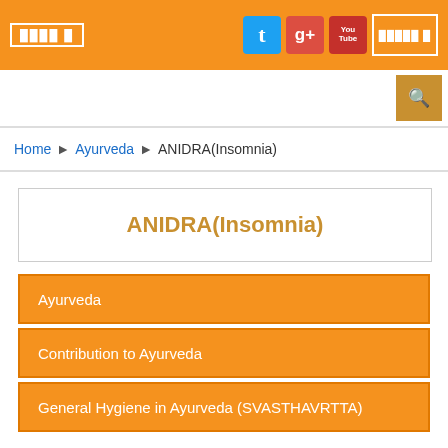Home · Ayurveda · ANIDRA(Insomnia)
ANIDRA(Insomnia)
Ayurveda
Contribution to Ayurveda
General Hygiene in Ayurveda (SVASTHAVRTTA)
SPECIALITIES OF AYURVEDA
Geriatric Health Care
Ayurvedic Approach to the Common Ailments